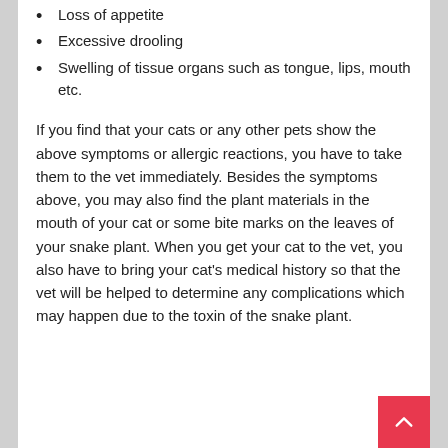Loss of appetite
Excessive drooling
Swelling of tissue organs such as tongue, lips, mouth etc.
If you find that your cats or any other pets show the above symptoms or allergic reactions, you have to take them to the vet immediately. Besides the symptoms above, you may also find the plant materials in the mouth of your cat or some bite marks on the leaves of your snake plant. When you get your cat to the vet, you also have to bring your cat's medical history so that the vet will be helped to determine any complications which may happen due to the toxin of the snake plant.